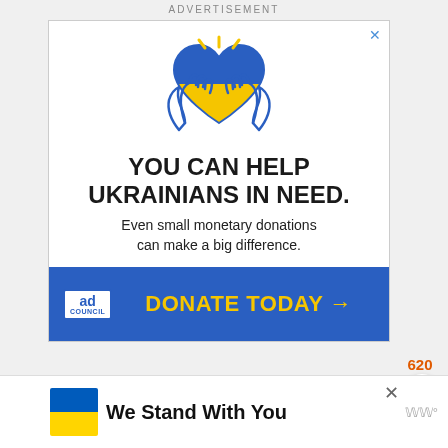ADVERTISEMENT
[Figure (illustration): Ad Council advertisement for Ukraine relief. Shows two hands holding a heart in Ukrainian flag colors (blue and yellow) with radiating lines. Text reads: YOU CAN HELP UKRAINIANS IN NEED. Even small monetary donations can make a big difference. DONATE TODAY →. Ad Council logo in blue footer.]
620
[Figure (other): Heart/like button icon (white circle with heart outline)]
[Figure (other): Search button icon (yellow circle with magnifying glass)]
[Figure (illustration): Bottom banner: Ukraine flag (blue and yellow), text 'We Stand With You', close button, logo watermark]
We Stand With You